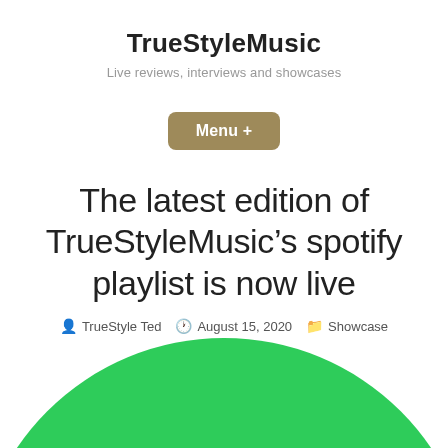TrueStyleMusic
Live reviews, interviews and showcases
Menu +
The latest edition of TrueStyleMusic’s spotify playlist is now live
TrueStyle Ted  August 15, 2020  Showcase
[Figure (illustration): Green circle partially visible at bottom of page, representing a Spotify graphic or decorative element]